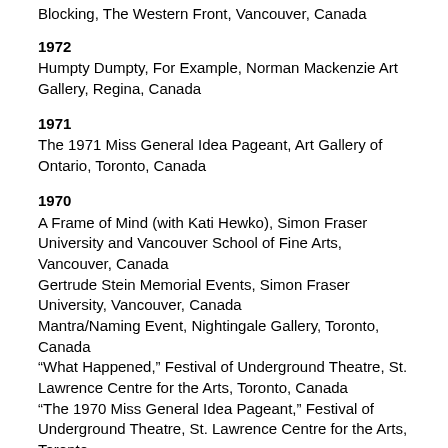Blocking, The Western Front, Vancouver, Canada
1972
Humpty Dumpty, For Example, Norman Mackenzie Art Gallery, Regina, Canada
1971
The 1971 Miss General Idea Pageant, Art Gallery of Ontario, Toronto, Canada
1970
A Frame of Mind (with Kati Hewko), Simon Fraser University and Vancouver School of Fine Arts, Vancouver, Canada
Gertrude Stein Memorial Events, Simon Fraser University, Vancouver, Canada
Mantra/Naming Event, Nightingale Gallery, Toronto, Canada
“What Happened,” Festival of Underground Theatre, St. Lawrence Centre for the Arts, Toronto, Canada
“The 1970 Miss General Idea Pageant,” Festival of Underground Theatre, St. Lawrence Centre for the Arts, Toronto
1969
Purse Snatching (Felix Partz) Winnipeg Art Gallery, Winnipeg, Canada